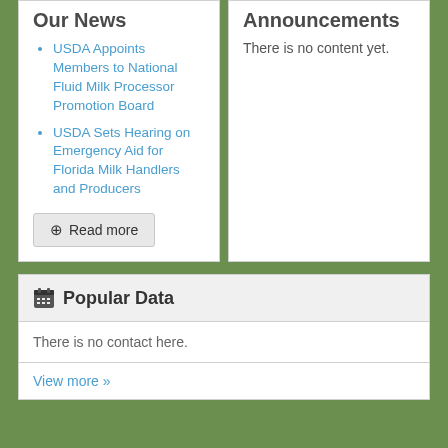Our News
USDA Appoints Members to National Fluid Milk Processor Promotion Board
USDA Sets Hearing on Emergency Aid for Florida Milk Handlers and Producers
Read more
Announcements
There is no content yet.
Popular Data
There is no contact here.
View more »